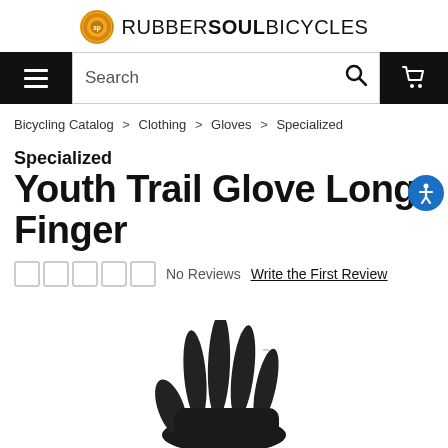RUBBER SOUL BICYCLES
Search
Bicycling Catalog > Clothing > Gloves > Specialized
Specialized Youth Trail Glove Long Finger
No Reviews   Write the First Review
[Figure (photo): Black youth trail glove long finger cycling glove, showing fingers of the glove from above, against a white background.]